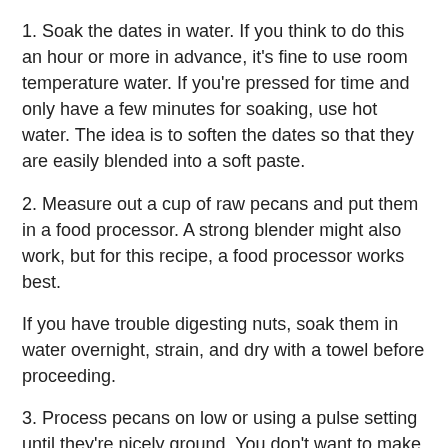1. Soak the dates in water. If you think to do this an hour or more in advance, it's fine to use room temperature water. If you're pressed for time and only have a few minutes for soaking, use hot water. The idea is to soften the dates so that they are easily blended into a soft paste.
2. Measure out a cup of raw pecans and put them in a food processor. A strong blender might also work, but for this recipe, a food processor works best.
If you have trouble digesting nuts, soak them in water overnight, strain, and dry with a towel before proceeding.
3. Process pecans on low or using a pulse setting until they're nicely ground. You don't want to make pecan butter here - you're looking for nicely ground pecans.
4. Add a heaping teaspoon of quality cocoa powder. If you don't enjoy chocolate, it's fine to skip this step.
5. Blend or pulse for another few seconds to bring ground nuts and cocoa powder together.
6. Add six soaked and mildly crushed dates to the mix. It's best to add a little water to this recipe to create proper texture.